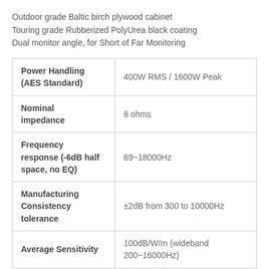Outdoor grade Baltic birch plywood cabinet
Touring grade Rubberized PolyUrea black coating
Dual monitor angle, for Short of Far Monitoring
| Specification | Value |
| --- | --- |
| Power Handling (AES Standard) | 400W RMS / 1600W Peak |
| Nominal impedance | 8 ohms |
| Frequency response (-6dB half space, no EQ) | 69~18000Hz |
| Manufacturing Consistency tolerance | ±2dB from 300 to 10000Hz |
| Average Sensitivity | 100dB/W/m (wideband 200~16000Hz) |